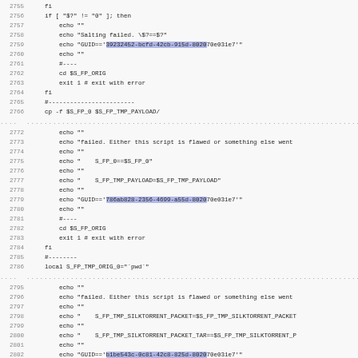[Figure (screenshot): Code listing showing shell script lines 2755-2807 with line numbers, syntax in monospace font, some GUIDs highlighted in blue/purple.]